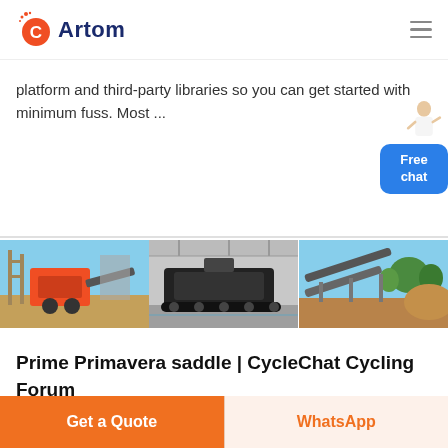Artom
platform and third-party libraries so you can get started with minimum fuss. Most ...
[Figure (photo): Three-panel image strip showing industrial mining/crushing equipment: left panel shows orange jaw crusher at a construction site, middle panel shows tracked mobile crusher in a warehouse, right panel shows a conveyor belt system outdoors.]
Prime Primavera saddle | CycleChat Cycling Forum
Get a Quote
WhatsApp